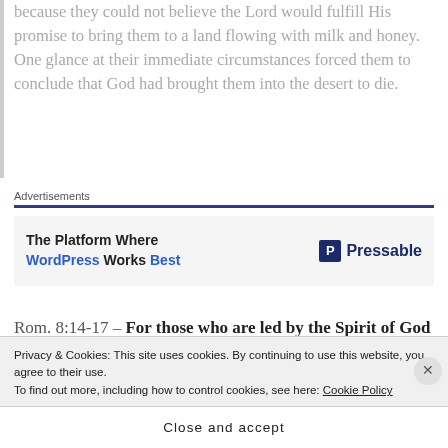because they could not believe the Lord would fulfill His promise to bring them to a land flowing with milk and honey. One glance at their immediate circumstances forced them to conclude that God had brought them into the desert to die.
Advertisements
[Figure (screenshot): Advertisement banner for Pressable WordPress hosting: 'The Platform Where WordPress Works Best' with Pressable logo on the right.]
Rom. 8:14-17 – For those who are led by the Spirit of God are the children of God. The Spirit you
Privacy & Cookies: This site uses cookies. By continuing to use this website, you agree to their use.
To find out more, including how to control cookies, see here: Cookie Policy
Close and accept